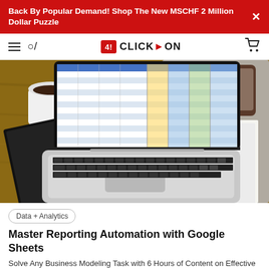Back By Popular Demand! Shop The New MSCHF 2 Million Dollar Puzzle
CLICK ON
[Figure (photo): Overhead view of an open MacBook laptop on a wooden desk showing a colorful spreadsheet, with a black notebook and coffee cup to the left, papers and a phone to the right]
Data + Analytics
Master Reporting Automation with Google Sheets
Solve Any Business Modeling Task with 6 Hours of Content on Effective